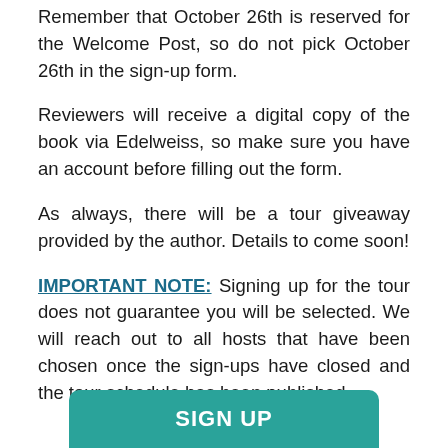Remember that October 26th is reserved for the Welcome Post, so do not pick October 26th in the sign-up form.
Reviewers will receive a digital copy of the book via Edelweiss, so make sure you have an account before filling out the form.
As always, there will be a tour giveaway provided by the author. Details to come soon!
IMPORTANT NOTE: Signing up for the tour does not guarantee you will be selected. We will reach out to all hosts that have been chosen once the sign-ups have closed and the tour schedule has been published.
[Figure (other): Teal/green rounded button partially visible at bottom with text SIGN UP]